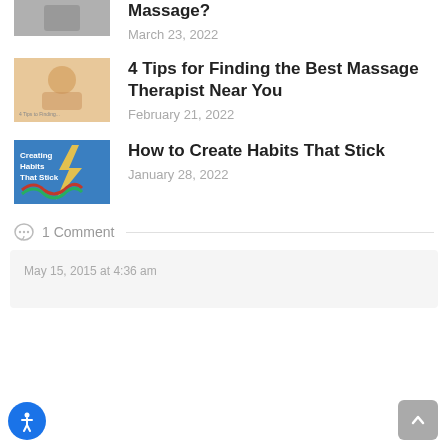[Figure (photo): Partial thumbnail of massage-related article at top, mostly cropped]
Massage?
March 23, 2022
[Figure (illustration): Thumbnail for '4 Tips for Finding the Best Massage Therapist Near You' showing a person receiving a massage]
4 Tips for Finding the Best Massage Therapist Near You
February 21, 2022
[Figure (illustration): Thumbnail for 'How to Create Habits That Stick' — blue background with text 'Creating Habits That Stick', lightning bolt shape, and snake/ribbon graphic]
How to Create Habits That Stick
January 28, 2022
1 Comment
May 15, 2015 at 4:36 am